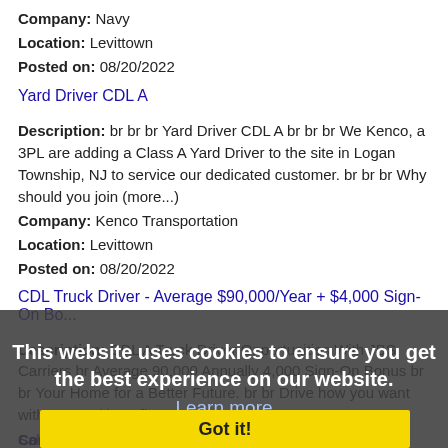Company: Navy
Location: Levittown
Posted on: 08/20/2022
Yard Driver CDL A
Description: br br br Yard Driver CDL A br br br We Kenco, a 3PL are adding a Class A Yard Driver to the site in Logan Township, NJ to service our dedicated customer. br br br Why should you join (more...)
Company: Kenco Transportation
Location: Levittown
Posted on: 08/20/2022
CDL Truck Driver - Average $90,000/Year + $4,000 Sign-On Bo...
Description: CDL A Truck Driver Opportunities With JBS Carriers br Average 90,000 Annually 4,000 Sign-On Bonus br br Your Home for a Better Future. br br Drive how you want with pay and benefits no (more...)
Company: JBS Carriers - Midwest Dedicated
Location: Westport
Posted on: 08/20/2022
This website uses cookies to ensure you get the best experience on our website.
Learn more
Got it!
Salary in New Rochelle, New York Area | More details for...